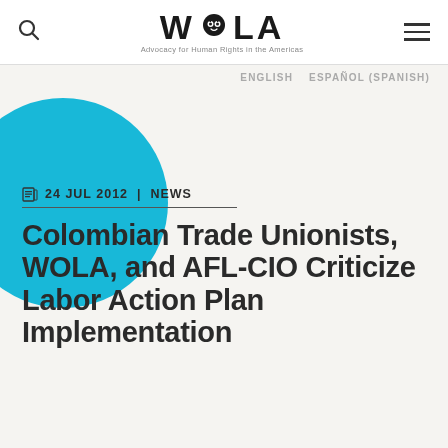WOLA — Advocacy for Human Rights in the Americas
ENGLISH   ESPAÑOL (SPANISH)
24 JUL 2012 | NEWS
Colombian Trade Unionists, WOLA, and AFL-CIO Criticize Labor Action Plan Implementation